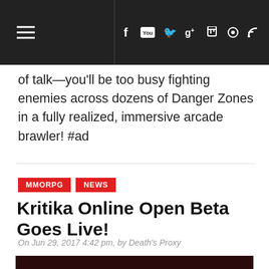Navigation bar with hamburger menu and social icons: f, YouTube, Twitter, g+, Twitch, Steam, RSS
of talk—you'll be too busy fighting enemies across dozens of Danger Zones in a fully realized, immersive arcade brawler! #ad
MMORPG
NEWS
Kritika Online Open Beta Goes Live!
On Jun 29, 2017 4:42 pm, by Death's Proxy
[Figure (illustration): Kritika Online promotional banner with dark red background, game logo 'KRITIKA ONLINE', text 'Open Beta Begins TODAY! Sign up, Download', and an anime character with purple hair on the right side.]